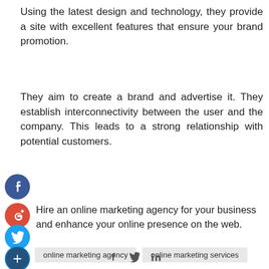Using the latest design and technology, they provide a site with excellent features that ensure your brand promotion.
They aim to create a brand and advertise it. They establish interconnectivity between the user and the company. This leads to a strong relationship with potential customers.
[Figure (illustration): Facebook social share button (blue circle with white 'f' icon)]
Hire an online marketing agency for your business and enhance your online presence on the web.
[Figure (illustration): Google+ social share button (red circle with white 'g+' icon)]
[Figure (illustration): Twitter social share button (blue circle with white bird icon)]
[Figure (illustration): Add/Plus social share button (dark circle with white '+' icon)]
online marketing agency    online marketing services
f  y  in